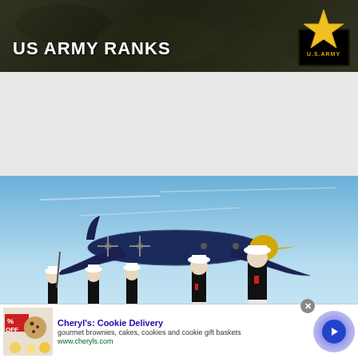[Figure (photo): US Army Ranks banner with dark camouflage background, white bold text 'US ARMY RANKS' and US Army star logo at top right]
[Figure (photo): US Marine Corps Ranks banner showing Marines in dress uniforms standing at attention with a Blue Angels C-130 aircraft flying overhead, red bar at bottom with text 'US MARINE CORPS RANKS' and Marine Corps eagle globe and anchor emblem, MARINES label]
[Figure (photo): Advertisement for Cheryl's Cookie Delivery showing cookie/brownie image, blue title text, description text about gourmet brownies, cakes, cookies and cookie gift baskets, www.cheryls.com URL, and circular arrow button]